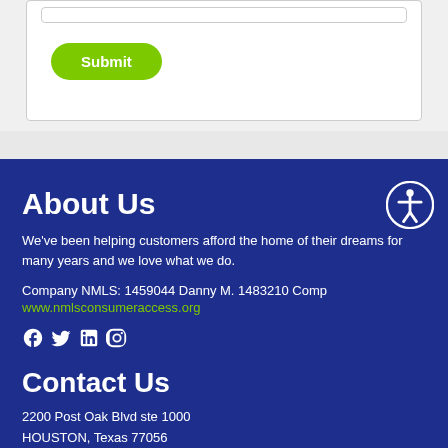[Figure (screenshot): A submit button with green pill/rounded rectangle shape, white text reading 'Submit']
About Us
We've been helping customers afford the home of their dreams for many years and we love what we do.
Company NMLS: 1459044 Danny M. 1483210 Comp
www.nmlsconsumeraccess.org
[Figure (infographic): Social media icons: Facebook, Twitter, LinkedIn, Instagram]
Contact Us
2200 Post Oak Blvd ste 1000
HOUSTON, Texas 77056